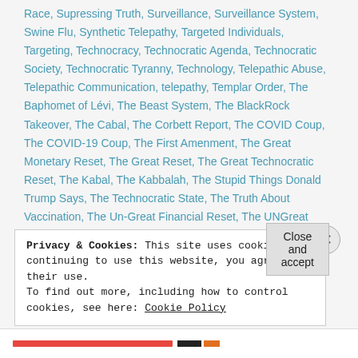Race, Supressing Truth, Surveillance, Surveillance System, Swine Flu, Synthetic Telepathy, Targeted Individuals, Targeting, Technocracy, Technocratic Agenda, Technocratic Society, Technocratic Tyranny, Technology, Telepathic Abuse, Telepathic Communication, telepathy, Templar Order, The Baphomet of Lévi, The Beast System, The BlackRock Takeover, The Cabal, The Corbett Report, The COVID Coup, The COVID-19 Coup, The First Amenment, The Great Monetary Reset, The Great Reset, The Great Technocratic Reset, The Kabal, The Kabbalah, The Stupid Things Donald Trump Says, The Technocratic State, The Truth About Vaccination, The Un-Great Financial Reset, The UNGreat Reset,
Privacy & Cookies: This site uses cookies. By continuing to use this website, you agree to their use.
To find out more, including how to control cookies, see here: Cookie Policy